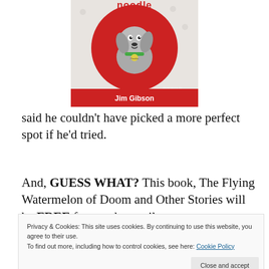[Figure (illustration): Book cover showing a cartoon dog on a red circle background with the title containing 'noodle', illustrations by Nancy Sisk, author Jim Gibson on a red bar at bottom]
said he couldn’t have picked a more perfect spot if he’d tried.
And, GUESS WHAT? This book, The Flying Watermelon of Doom and Other Stories will be FREE from today until
Privacy & Cookies: This site uses cookies. By continuing to use this website, you agree to their use.
To find out more, including how to control cookies, see here: Cookie Policy
Close and accept